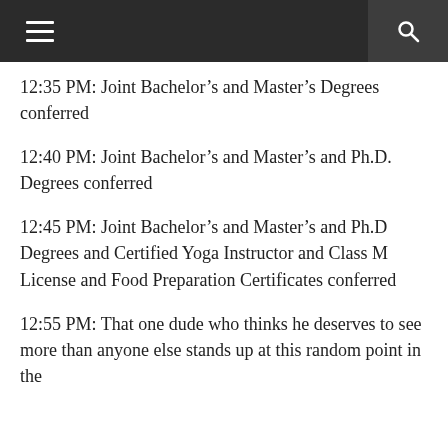12:35 PM: Joint Bachelor’s and Master’s Degrees conferred
12:40 PM: Joint Bachelor’s and Master’s and Ph.D. Degrees conferred
12:45 PM: Joint Bachelor’s and Master’s and Ph.D Degrees and Certified Yoga Instructor and Class M License and Food Preparation Certificates conferred
12:55 PM: That one dude who thinks he deserves to see more than anyone else stands up at this random point in the